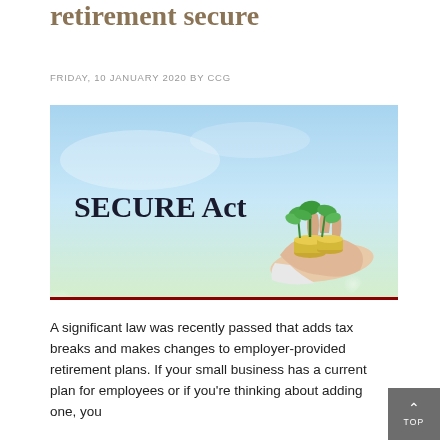retirement secure
FRIDAY, 10 JANUARY 2020 BY CCG
[Figure (photo): Banner image for the SECURE Act article showing the text 'SECURE Act' on the left against a blue-green gradient background, and on the right a hand holding coins with small green seedlings growing from them, symbolizing financial growth.]
A significant law was recently passed that adds tax breaks and makes changes to employer-provided retirement plans. If your small business has a current plan for employees or if you're thinking about adding one, you